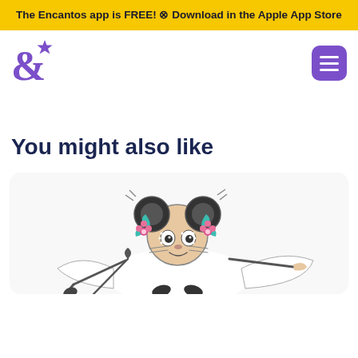The Encantos app is FREE! ⊗ Download in the Apple App Store
[Figure (logo): Encantos purple ampersand logo with a star]
[Figure (illustration): Purple rounded rectangle hamburger menu button]
You might also like
[Figure (illustration): Illustrated character resembling a mouse or cat with pigtails decorated with pink roses and teal ribbons, dressed in white and holding a cane or stick, depicted in a lively dancing pose. Black and white sketch style with color accents.]